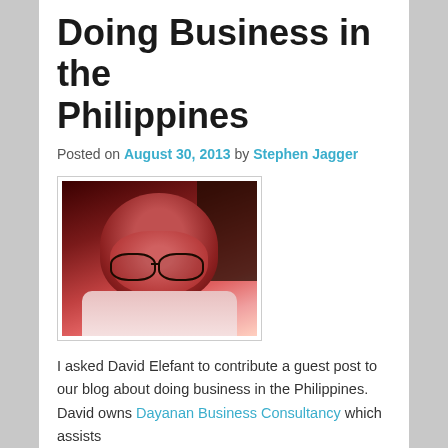Doing Business in the Philippines
Posted on August 30, 2013 by Stephen Jagger
[Figure (photo): Portrait photo of David Elefant, a bald older man with glasses and stubble, shown in reddish-tinted photograph]
I asked David Elefant to contribute a guest post to our blog about doing business in the Philippines. David owns Dayanan Business Consultancy which assists